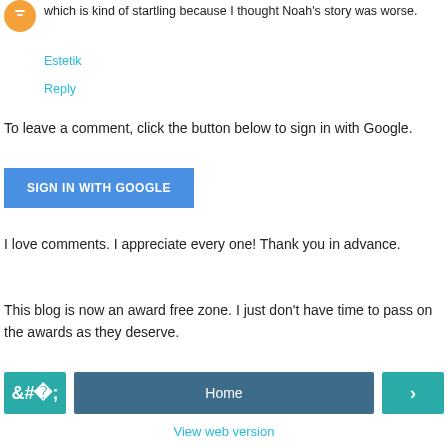which is kind of startling because I thought Noah's story was worse.
Estetik
Reply
To leave a comment, click the button below to sign in with Google.
[Figure (other): Blue 'SIGN IN WITH GOOGLE' button]
I love comments. I appreciate every one! Thank you in advance.
This blog is now an award free zone. I just don't have time to pass on the awards as they deserve.
[Figure (other): Navigation bar with left arrow button, Home button, and right arrow button]
View web version